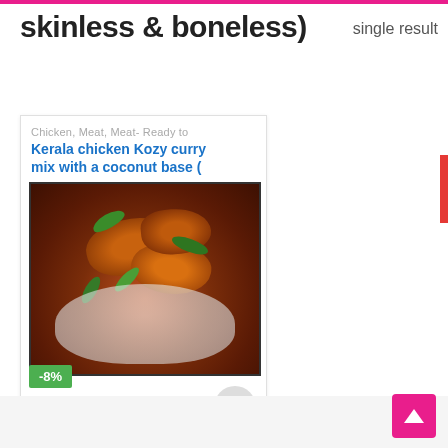skinless & boneless)
single result
Chicken, Meat, Meat- Ready to
Kerala chicken Kozy curry mix with a coconut base (
[Figure (photo): Photo of Kerala chicken curry in a white bowl, garnished with green curry leaves, in a rich dark brown coconut-based gravy]
-8%
₹ 346.50 ₹ 370.00